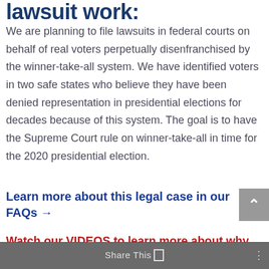lawsuit work:
We are planning to file lawsuits in federal courts on behalf of real voters perpetually disenfranchised by the winner-take-all system. We have identified voters in two safe states who believe they have been denied representation in presidential elections for decades because of this system. The goal is to have the Supreme Court rule on winner-take-all in time for the 2020 presidential election.
Learn more about this legal case in our FAQs →
Watch our VIDEOS to learn more about why we think we can win →
Share This